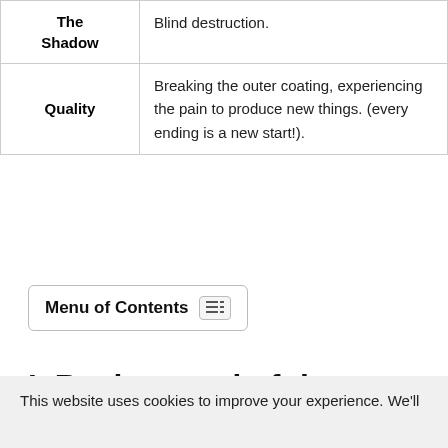| The Shadow | Blind destruction. |
| Quality | Breaking the outer coating, experiencing the pain to produce new things. (every ending is a new start!). |
Menu of Contents
I. Background of the Tower Thoth Tarot card
This website uses cookies to improve your experience. We'll